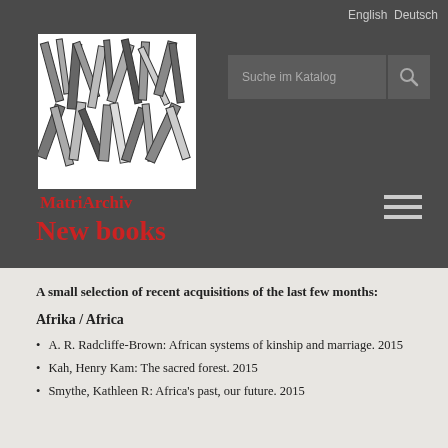English  Deutsch
[Figure (logo): MatriArchiv logo: abstract stacked books/lines image above the text MatriArchiv in red]
New books
A small selection of recent acquisitions of the last few months:
Afrika / Africa
A. R. Radcliffe-Brown: African systems of kinship and marriage. 2015
Kah, Henry Kam: The sacred forest. 2015
Smythe, Kathleen R: Africa's past, our future. 2015